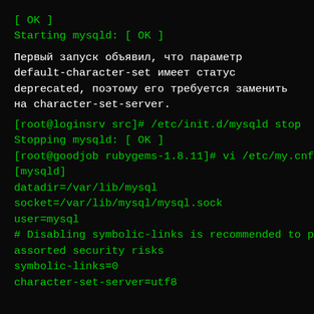[ OK ]
Starting mysqld: [ OK ]
Первый запуск объявил, что параметр default-character-set имеет статус deprecated, поэтому его требуется заменить на character-set-server.
[root@loginsrv src]# /etc/init.d/mysqld stop
Stopping mysqld: [ OK ]
[root@goodjob rubygems-1.8.11]# vi /etc/my.cnf
[mysqld]
datadir=/var/lib/mysql
socket=/var/lib/mysql/mysql.sock
user=mysql
# Disabling symbolic-links is recommended to prevent assorted security risks
symbolic-links=0
character-set-server=utf8